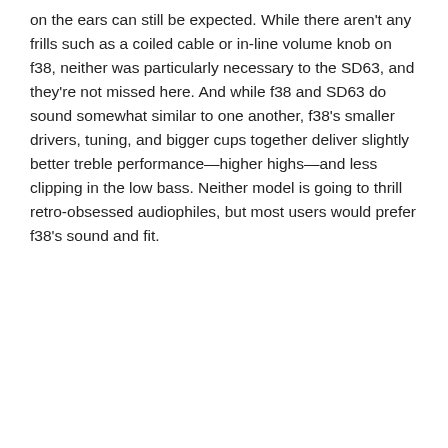on the ears can still be expected. While there aren't any frills such as a coiled cable or in-line volume knob on f38, neither was particularly necessary to the SD63, and they're not missed here. And while f38 and SD63 do sound somewhat similar to one another, f38's smaller drivers, tuning, and bigger cups together deliver slightly better treble performance—higher highs—and less clipping in the low bass. Neither model is going to thrill retro-obsessed audiophiles, but most users would prefer f38's sound and fit.